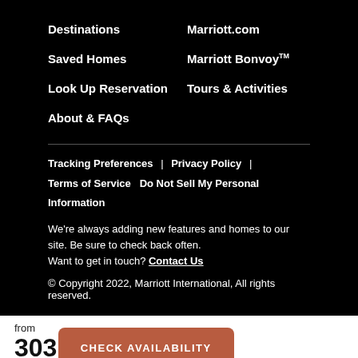Destinations
Marriott.com
Saved Homes
Marriott Bonvoy™
Look Up Reservation
Tours & Activities
About & FAQs
Tracking Preferences  |  Privacy Policy  |  Terms of Service  Do Not Sell My Personal Information
We're always adding new features and homes to our site. Be sure to check back often.
Want to get in touch? Contact Us
© Copyright 2022, Marriott International, All rights reserved.
from
303
USD/night
CHECK AVAILABILITY